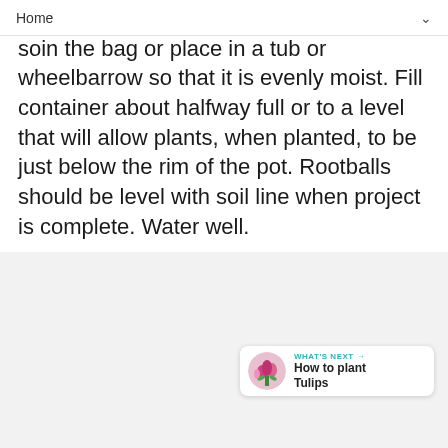Home
Pri... soil in the bag or place in a tub or wheelbarrow so that it is evenly moist. Fill container about halfway full or to a level that will allow plants, when planted, to be just below the rim of the pot. Rootballs should be level with soil line when project is complete. Water well.
[Figure (screenshot): Grey content area with floating action buttons: heart (teal), count (1), share icon. What's Next card showing tulip image with text 'WHAT'S NEXT → How to plant Tulips']